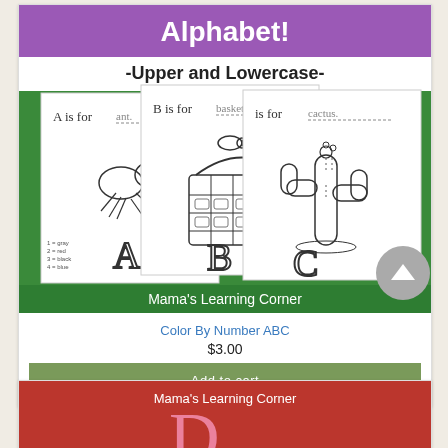[Figure (illustration): Color By Number ABC product cover image showing three worksheet pages with ant (A is for ant), basket (B is for basket), and cactus (C is for cactus) on a green background with 'Mama's Learning Corner' branding and purple 'Alphabet! -Upper and Lowercase-' header]
Color By Number ABC
$3.00
Add to cart
[Figure (illustration): Partial product image at bottom showing pink/red background with 'Mama's Learning Corner' text and partial pink letter visible]